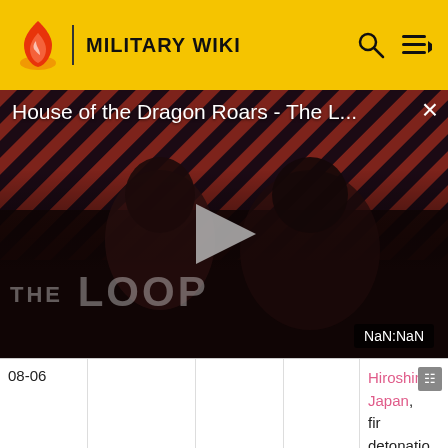MILITARY WIKI
[Figure (screenshot): Video player showing 'House of the Dragon Roars - The L...' with a play button, diagonal red/dark stripes background with THE LOOP branding and two figures visible, NaN:NaN timer displayed]
| 08-06 |  |  |  | Hiroshima, Japan, fir detonatio an enriched uranium gun-type device, first use of a |